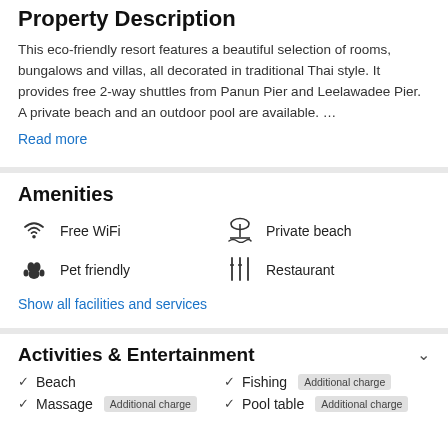Property Description
This eco-friendly resort features a beautiful selection of rooms, bungalows and villas, all decorated in traditional Thai style. It provides free 2-way shuttles from Panun Pier and Leelawadee Pier. A private beach and an outdoor pool are available. …
Read more
Amenities
Free WiFi
Private beach
Pet friendly
Restaurant
Show all facilities and services
Activities & Entertainment
Beach
Fishing Additional charge
Massage Additional charge
Pool table Additional charge